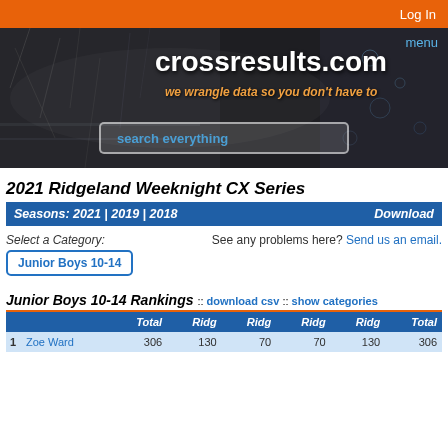Log In
[Figure (screenshot): crossresults.com website banner with dark cracked/rainy background, site title 'crossresults.com', subtitle 'we wrangle data so you don't have to', search box, and menu link]
2021 Ridgeland Weeknight CX Series
Seasons: 2021 | 2019 | 2018    Download
Select a Category:    See any problems here? Send us an email.
Junior Boys 10-14
Junior Boys 10-14 Rankings :: download csv :: show categories
|  |  | Total | Ridg | Ridg | Ridg | Ridg | Total |
| --- | --- | --- | --- | --- | --- | --- | --- |
| 1 | Zoe Ward | 306 | 130 | 70 | 70 | 130 | 306 |